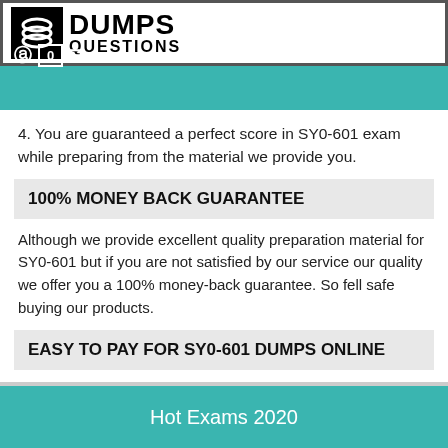DumpsQuestions — header with logo
4. You are guaranteed a perfect score in SY0-601 exam while preparing from the material we provide you.
100% MONEY BACK GUARANTEE
Although we provide excellent quality preparation material for SY0-601 but if you are not satisfied by our service our quality we offer you a 100% money-back guarantee. So fell safe buying our products.
EASY TO PAY FOR SY0-601 DUMPS ONLINE
You can purchase our SY0-601 product through online secure payment methods, like as Credit Cards, Visa, Master Cards, American Express, and Discover.
Hot Exams 2020